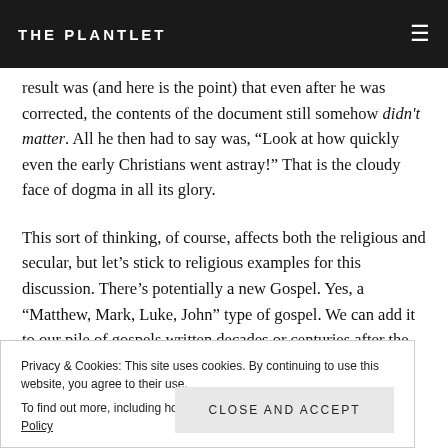THE PLANTLET
result was (and here is the point) that even after he was corrected, the contents of the document still somehow didn't matter. All he then had to say was, “Look at how quickly even the early Christians went astray!” That is the cloudy face of dogma in all its glory.
This sort of thinking, of course, affects both the religious and secular, but let’s stick to religious examples for this discussion. There’s potentially a new Gospel. Yes, a “Matthew, Mark, Luke, John” type of gospel. We can add it to our pile of gospels written decades or centuries after the death of Christ (which includes the
Privacy & Cookies: This site uses cookies. By continuing to use this website, you agree to their use. To find out more, including how to control cookies, see here: Cookie Policy
Close and accept